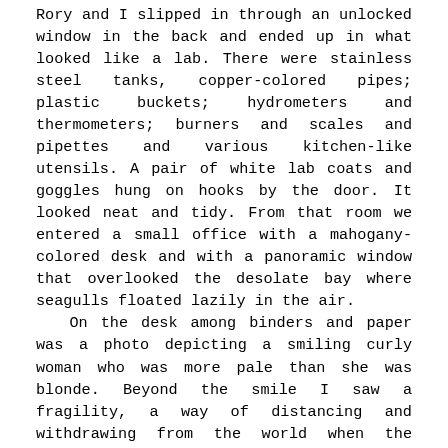Rory and I slipped in through an unlocked window in the back and ended up in what looked like a lab. There were stainless steel tanks, copper-colored pipes; plastic buckets; hydrometers and thermometers; burners and scales and pipettes and various kitchen-like utensils. A pair of white lab coats and goggles hung on hooks by the door. It looked neat and tidy. From that room we entered a small office with a mahogany-colored desk and with a panoramic window that overlooked the desolate bay where seagulls floated lazily in the air.

On the desk among binders and paper was a photo depicting a smiling curly woman who was more pale than she was blonde. Beyond the smile I saw a fragility, a way of distancing and withdrawing from the world when the pressure was too much or too intimate. She had to have everbody and everything at a correct distance and it was laborious work as the margins of error seemed tight. I suspected also recurrent mood swings or a seasonal grief without objects, I read a lot in her face.

The electricity was off but we found a kind of diesel generator and a barrel of fuel in the garage. One floor down, in a storage room that was also a laundry room, we found to our delight rice, canned food, soap, candles and matches and a box of "Trioca rum haven" slippers. In the distillery's small shop there were lots of towels, t-shirts and shorts designed with the logo printed on them and before we had a chance